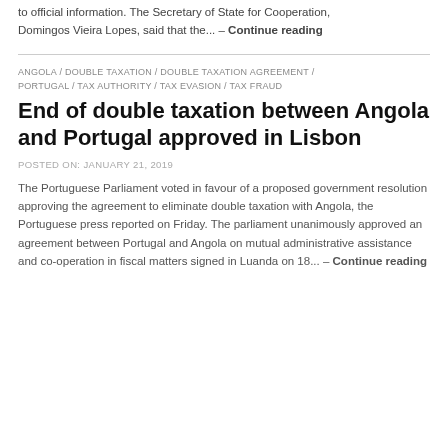to official information. The Secretary of State for Cooperation, Domingos Vieira Lopes, said that the... – Continue reading
ANGOLA / DOUBLE TAXATION / DOUBLE TAXATION AGREEMENT / PORTUGAL / TAX AUTHORITY / TAX EVASION / TAX FRAUD
End of double taxation between Angola and Portugal approved in Lisbon
POSTED ON: JANUARY 21, 2019
The Portuguese Parliament voted in favour of a proposed government resolution approving the agreement to eliminate double taxation with Angola, the Portuguese press reported on Friday. The parliament unanimously approved an agreement between Portugal and Angola on mutual administrative assistance and co-operation in fiscal matters signed in Luanda on 18... – Continue reading